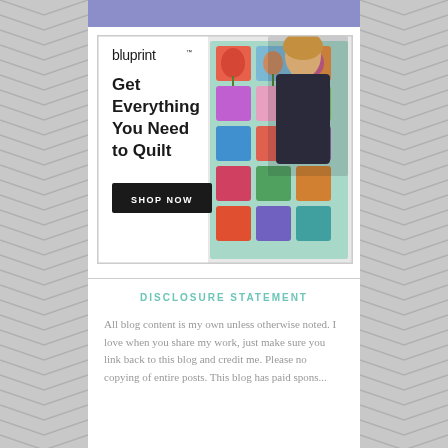[Figure (illustration): Bluprint advertisement showing a woman holding a colorful floral quilt. Text reads 'bluprint', 'Get Everything You Need to Quilt', and a 'SHOP NOW' button.]
DISCLOSURE STATEMENT
All blog content is my own unless otherwise noted. I love when you share my work, just make sure you link back to this blog and credit me. Please no copying of entire posts. This blog has paid sponsorships